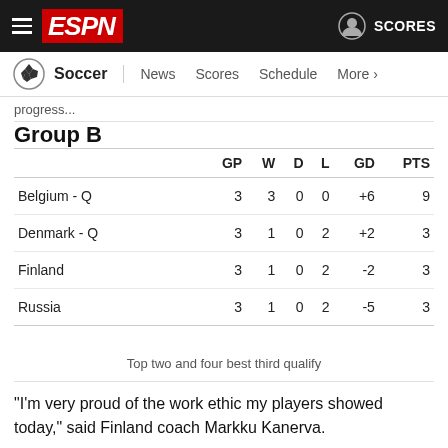ESPN Soccer - News Scores Schedule More
progress...
Group B
|  | GP | W | D | L | GD | PTS |
| --- | --- | --- | --- | --- | --- | --- |
| Belgium - Q | 3 | 3 | 0 | 0 | +6 | 9 |
| Denmark - Q | 3 | 1 | 0 | 2 | +2 | 3 |
| Finland | 3 | 1 | 0 | 2 | -2 | 3 |
| Russia | 3 | 1 | 0 | 2 | -5 | 3 |
Top two and four best third qualify
"I'm very proud of the work ethic my players showed today," said Finland coach Markku Kanerva.